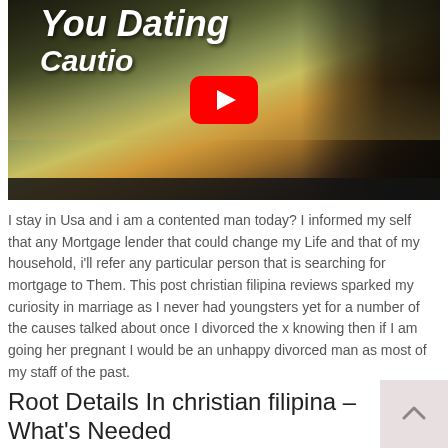[Figure (screenshot): YouTube video thumbnail showing a couple sitting by the ocean at sunset with overlay text 'You Dating Caution' in bold italic white font and a YouTube play button in the center]
I stay in Usa and i am a contented man today? I informed my self that any Mortgage lender that could change my Life and that of my household, i'll refer any particular person that is searching for mortgage to Them. This post christian filipina reviews sparked my curiosity in marriage as I never had youngsters yet for a number of the causes talked about once I divorced the x knowing then if I am going her pregnant I would be an unhappy divorced man as most of my staff of the past.
Root Details In christian filipina – What's Needed